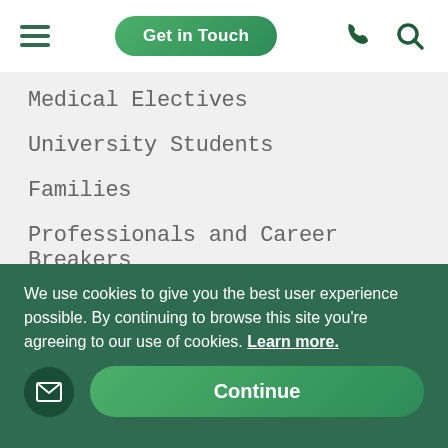Get in Touch
Medical Electives
University Students
Families
Professionals and Career Breakers
Short-term Volunteers
General Information
Privacy Policy
Cookie Policy
Terms and Conditions
We use cookies to give you the best user experience possible. By continuing to browse this site you're agreeing to our use of cookies. Learn more.